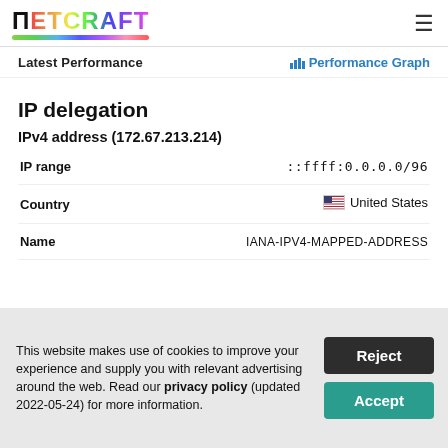Netcraft
Latest Performance   Performance Graph
IP delegation
IPv4 address (172.67.213.214)
|  |  |
| --- | --- |
| IP range | ::ffff:0.0.0.0/96 |
| Country | 🇺🇸 United States |
| Name | IANA-IPV4-MAPPED-ADDRESS |
This website makes use of cookies to improve your experience and supply you with relevant advertising around the web. Read our privacy policy (updated 2022-05-24) for more information.